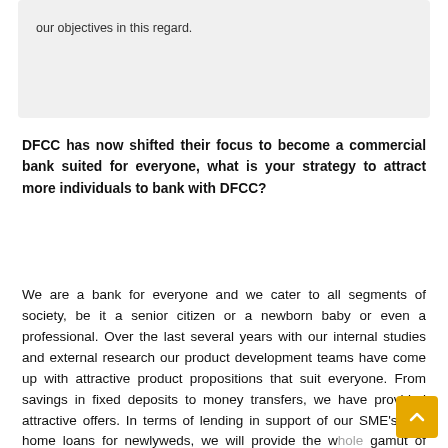our objectives in this regard.
DFCC has now shifted their focus to become a commercial bank suited for everyone, what is your strategy to attract more individuals to bank with DFCC?
We are a bank for everyone and we cater to all segments of society, be it a senior citizen or a newborn baby or even a professional. Over the last several years with our internal studies and external research our product development teams have come up with attractive product propositions that suit everyone. From savings in fixed deposits to money transfers, we have provided attractive offers. In terms of lending in support of our SME's and home loans for newlyweds, we will provide the whole gamut of services. Our strategy is that we use a bit of a